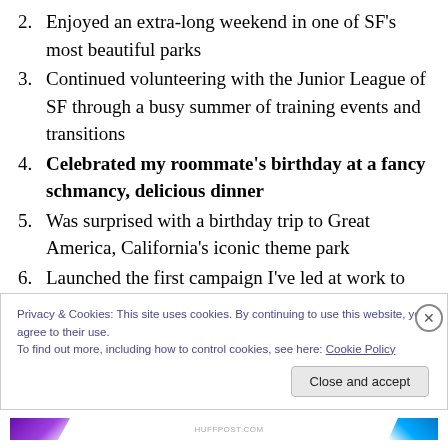2. Enjoyed an extra-long weekend in one of SF’s most beautiful parks
3. Continued volunteering with the Junior League of SF through a busy summer of training events and transitions
4. Celebrated my roommate’s birthday at a fancy schmancy, delicious dinner
5. Was surprised with a birthday trip to Great America, California’s iconic theme park
6. Launched the first campaign I’ve led at work to celebrate 50 years since the moon landing
Privacy & Cookies: This site uses cookies. By continuing to use this website, you agree to their use.
To find out more, including how to control cookies, see here: Cookie Policy